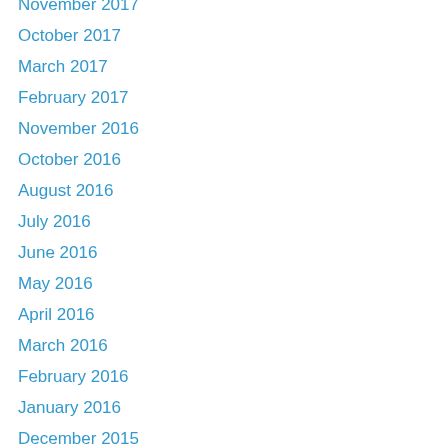November 2017
October 2017
March 2017
February 2017
November 2016
October 2016
August 2016
July 2016
June 2016
May 2016
April 2016
March 2016
February 2016
January 2016
December 2015
November 2015
October 2015
September 2015
July 2015
June 2015
March 2015